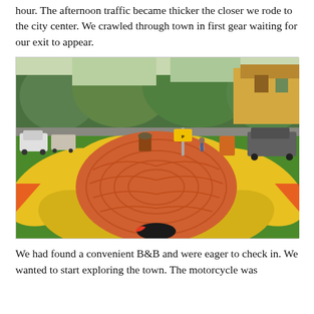hour. The afternoon traffic became thicker the closer we rode to the city center. We crawled through town in first gear waiting for our exit to appear.
[Figure (photo): A street intersection in a city neighborhood painted with a large colorful sunflower mural on the asphalt. The center of the sunflower is orange/red, surrounded by bright yellow petals on a green background. Small decorative figures appear at the edges. Trees line the street, cars are parked along the sides, and houses are visible in the background.]
We had found a convenient B&B and were eager to check in. We wanted to start exploring the town. The motorcycle was...